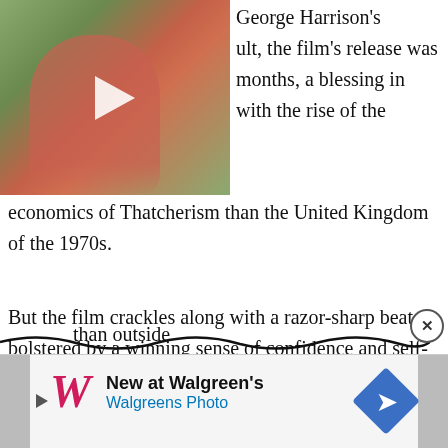[Figure (screenshot): Video thumbnail showing a person in a pink top with a play button overlay, garden/floral background]
George Harrison's ult, the film's release was months, a blessing in with the rise of the economics of Thatcherism than the United Kingdom of the 1970s.
But the film crackles along with a razor-sharp beat, bolstered by a winning sense of confidence and self-assurance. The film shows a muscular talent in the lead, guiding viewers into the new Europe. In some ways, it's a piece about the Brexit debate, showing one man who understands that London is better off in a
than outside
[Figure (screenshot): Walgreens advertisement banner: New at Walgreen's, Walgreens Photo, with Walgreens logo and blue diamond arrow icon]